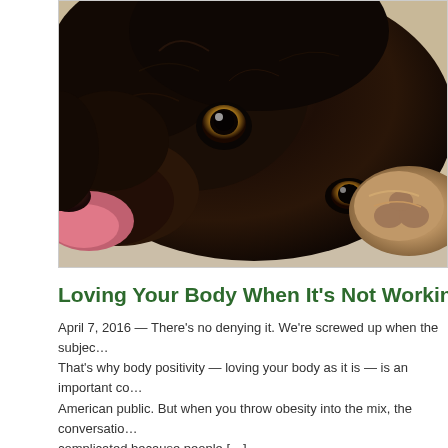[Figure (photo): Close-up photo of a dark brown/black dog lying on its side, looking upward with amber eyes. The dog appears to be a Labrador mix. The background is a light beige surface.]
Loving Your Body When It's Not Working Rig...
April 7, 2016 — There's no denying it. We're screwed up when the subject... That's why body positivity — loving your body as it is — is an important co... American public. But when you throw obesity into the mix, the conversatio... complicated because people [...]